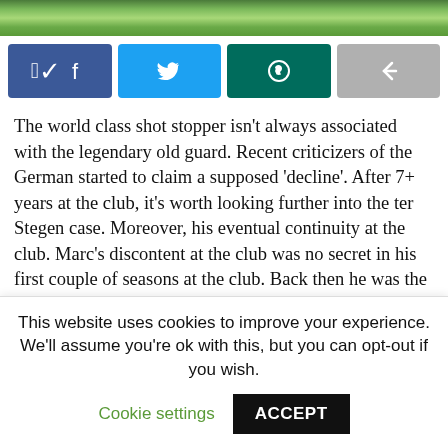[Figure (photo): Green football pitch / grass background image at the top of the page]
[Figure (infographic): Social share buttons row: Facebook (blue), Twitter (light blue), WhatsApp (dark teal), Share (grey)]
The world class shot stopper isn't always associated with the legendary old guard. Recent criticizers of the German started to claim a supposed 'decline'. After 7+ years at the club, it's worth looking further into the ter Stegen case. Moreover, his eventual continuity at the club. Marc's discontent at the club was no secret in his first couple of seasons at the club. Back then he was the second fiddle to Claudio Bravo. The feelings of discontent ultimately translated into healthy competition, evident in his largely phenomenal goalkeeping displays during cup tournaments
This website uses cookies to improve your experience. We'll assume you're ok with this, but you can opt-out if you wish.
Cookie settings   ACCEPT